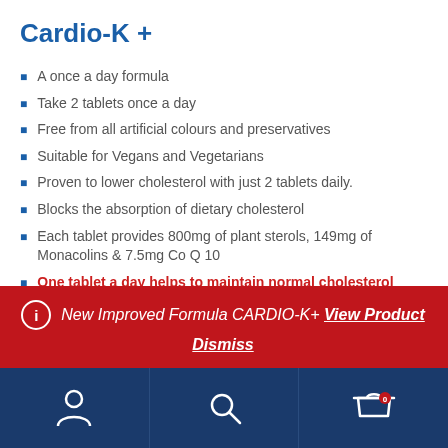Cardio-K +
A once a day formula
Take 2 tablets once a day
Free from all artificial colours and preservatives
Suitable for Vegans and Vegetarians
Proven to lower cholesterol with just 2 tablets daily.
Blocks the absorption of dietary cholesterol
Each tablet provides 800mg of plant sterols, 149mg of Monacolins & 7.5mg Co Q 10
One tablet a day helps to maintain normal cholesterol levels
Two tablets a day LOWERS CHOLESTEROL levels
New Improved Formula CARDIO-K+ View Product Dismiss